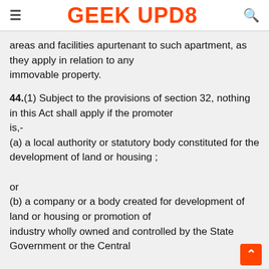≡  GEEK UPD8  🔍
areas and facilities apurtenant to such apartment, as they apply in relation to any immovable property.
44.(1) Subject to the provisions of section 32, nothing in this Act shall apply if the promoter is,-
(a) a local authority or statutory body constituted for the development of land or housing ;
or
(b) a company or a body created for development of land or housing or promotion of industry wholly owned and controlled by the State Government or the Central